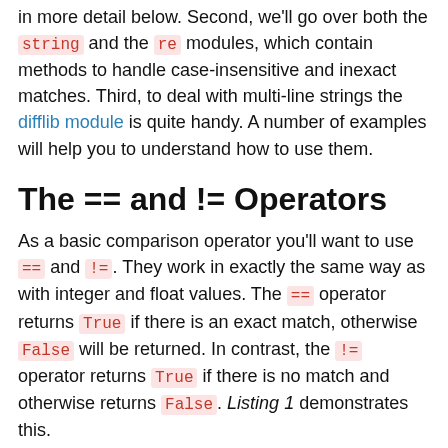in more detail below. Second, we'll go over both the string and the re modules, which contain methods to handle case-insensitive and inexact matches. Third, to deal with multi-line strings the difflib module is quite handy. A number of examples will help you to understand how to use them.
The == and != Operators
As a basic comparison operator you'll want to use == and !=. They work in exactly the same way as with integer and float values. The == operator returns True if there is an exact match, otherwise False will be returned. In contrast, the != operator returns True if there is no match and otherwise returns False. Listing 1 demonstrates this.